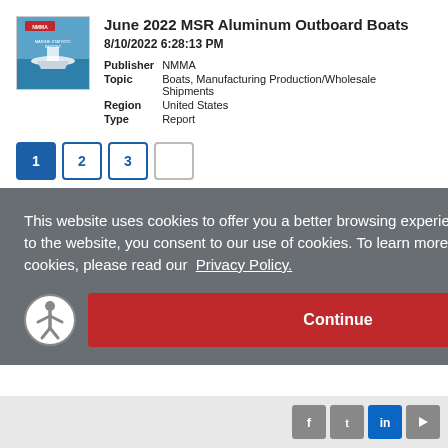[Figure (illustration): Book cover thumbnail for June 2022 MSR Aluminum Outboard Boats report, showing a boat on water with NMMA branding]
June 2022 MSR Aluminum Outboard Boats
8/10/2022 6:28:13 PM
| Publisher | NMMA |
| Topic | Boats, Manufacturing Production/Wholesale Shipments |
| Region | United States |
| Type | Report |
Pagination: 1 2 3 4
This website uses cookies to offer you a better browsing experience. By continuing to the website, you consent to our use of cookies. To learn more about how we use cookies, please read our Privacy Policy.
Continue